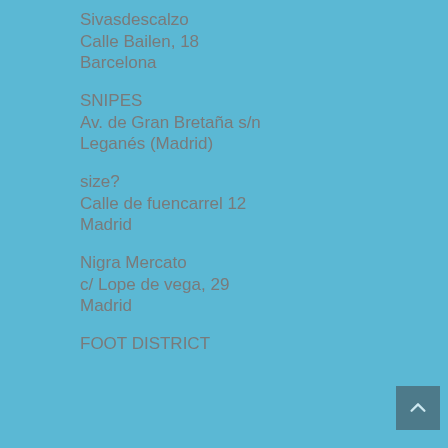Sivasdescalzo
Calle Bailen, 18
Barcelona
SNIPES
Av. de Gran Bretaña s/n
Leganés (Madrid)
size?
Calle de fuencarrel 12
Madrid
Nigra Mercato
c/ Lope de vega, 29
Madrid
FOOT DISTRICT